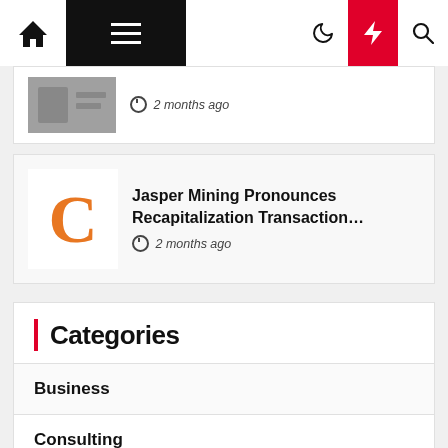Navigation bar with home, menu, moon, lightning bolt, and search icons
2 months ago
Jasper Mining Pronounces Recapitalization Transaction…
⊙ 2 months ago
Categories
Business
Consulting
Finance
Fundraising